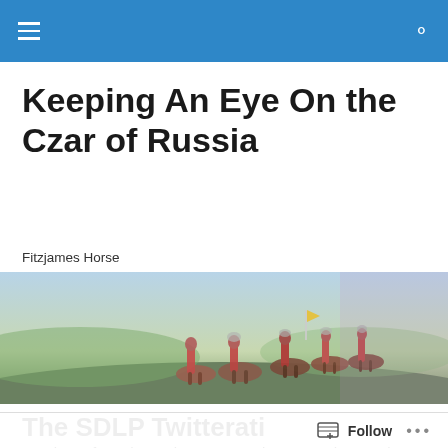Keeping An Eye On the Czar of Russia
Fitzjames Horse
[Figure (photo): Historical illustration of soldiers on horseback in period military uniforms, riding across a countryside landscape.]
The SDLP Twitterati
“Squinter” from the Andytown News is a man who speaks
Follow